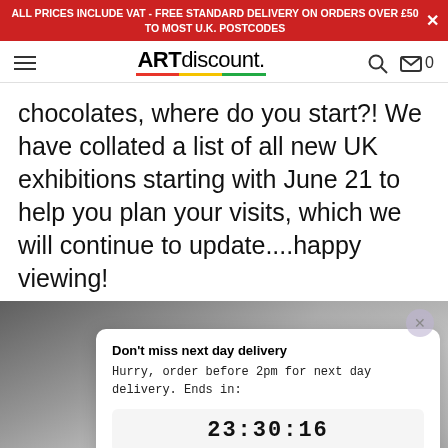ALL PRICES INCLUDE VAT - FREE STANDARD DELIVERY ON ORDERS OVER £50 TO MOST U.K. POSTCODES
[Figure (logo): ARTdiscount logo with coloured underline and hamburger menu, search and cart icons]
chocolates, where do you start?! We have collated a list of all new UK exhibitions starting with June 21 to help you plan your visits, which we will continue to update....happy viewing!
[Figure (screenshot): Website popup overlay on blurred image background showing next day delivery countdown timer. Popup title: Don't miss next day delivery. Body: Hurry, order before 2pm for next day delivery. Ends in: Timer showing 23:30:16]
Don't miss next day delivery
Hurry, order before 2pm for next day delivery. Ends in:
23:30:16
he best experience on our website. Privacy Policy
Preferences
Accept